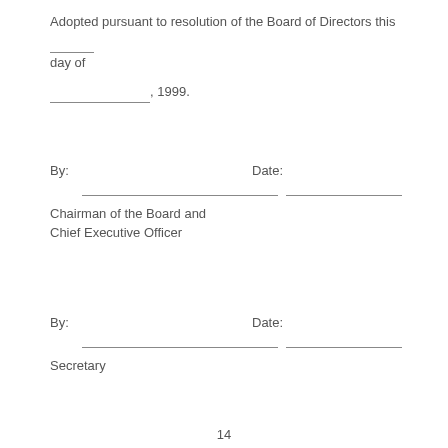Adopted pursuant to resolution of the Board of Directors this _____ day of
____________, 1999.
By:                                    Date:
Chairman of the Board and Chief Executive Officer
By:                                    Date:
Secretary
14